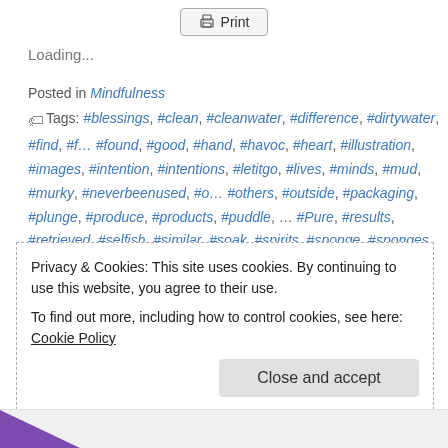Print
Loading...
Posted in Mindfulness
Tags: #blessings, #clean, #cleanwater, #difference, #dirtywater, #find, #f… #found, #good, #hand, #havoc, #heart, #illustration, #images, #intention, #intentions, #letitgo, #lives, #minds, #mud, #murky, #neverbeenused, #o… #others, #outside, #packaging, #plunge, #produce, #products, #puddle, … #Pure, #results, #retrieved, #selfish, #similar, #soak, #spirits, #sponge, #sponges, #store, #water, #whereweare, #wherewearegoing, #wherewecamefrom, #wreak, Home, Peace
Privacy & Cookies: This site uses cookies. By continuing to use this website, you agree to their use. To find out more, including how to control cookies, see here: Cookie Policy
Close and accept